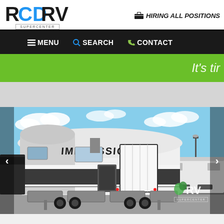[Figure (logo): RCD RV Supercenter logo — stylized letters RCD RV with SUPERCENTER below in a bordered box]
HIRING ALL POSITIONS
MENU
SEARCH
CONTACT
It's tir
[Figure (photo): Exterior photo of an Impression brand fifth-wheel RV trailer with slide-outs extended, parked in a lot under a blue sky with white clouds. RCD RV Supercenter watermark logo visible in lower right.]